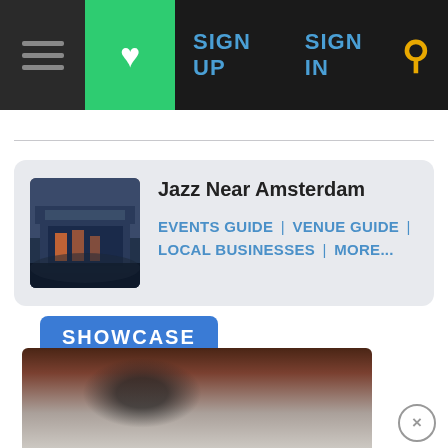[Figure (screenshot): Navigation bar with hamburger menu, green heart button, SIGN UP, SIGN IN links and search icon]
[Figure (screenshot): Jazz Near Amsterdam card with thumbnail image of a modern building at night, links: EVENTS GUIDE | VENUE GUIDE | LOCAL BUSINESSES | MORE...]
[Figure (screenshot): SHOWCASE badge/button in blue with speech bubble pointer]
[Figure (photo): Dark partial image showing a bird or animal silhouette against warm background colors]